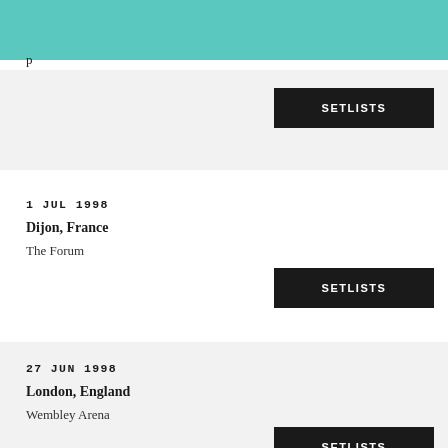SETLISTS
1 JUL 1998
Dijon, France
The Forum
SETLISTS
27 JUN 1998
London, England
Wembley Arena
SETLISTS